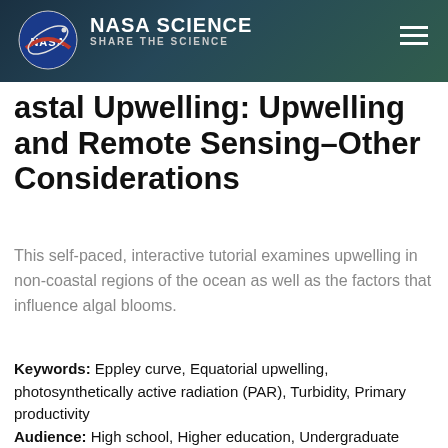NASA SCIENCE | SHARE THE SCIENCE
Coastal Upwelling: Upwelling and Remote Sensing–Other Considerations
This self-paced, interactive tutorial examines upwelling in non-coastal regions of the ocean as well as the factors that influence algal blooms.
Keywords: Eppley curve, Equatorial upwelling, photosynthetically active radiation (PAR), Turbidity, Primary productivity
Audience: High school, Higher education, Undergraduate
Topic: Earth and space science, Earth processes, Climate, Earth and space science, Earth structure, Ocean and water, Engineering and technology, Image processing and visualization, Engineering and technology